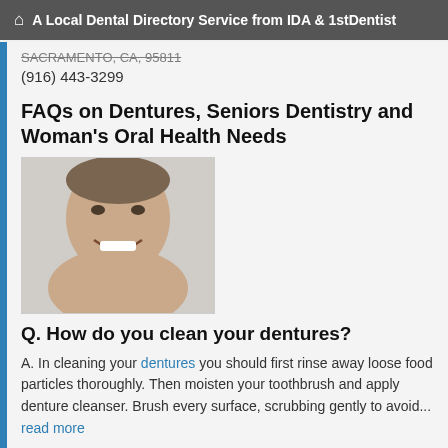A Local Dental Directory Service from IDA & 1stDentist
SACRAMENTO, CA, 95811
(916) 443-3299
FAQs on Dentures, Seniors Dentistry and Woman's Oral Health Needs
[Figure (photo): Smiling middle-aged man with white teeth]
Q. How do you clean your dentures?
A. In cleaning your dentures you should first rinse away loose food particles thoroughly. Then moisten your toothbrush and apply denture cleanser. Brush every surface, scrubbing gently to avoid... read more
The Effects Of Aging And Tooth Loss On The Mouth
Tooth loss is not part of the normal aging
[Figure (photo): Small thumbnail image related to aging and tooth loss]